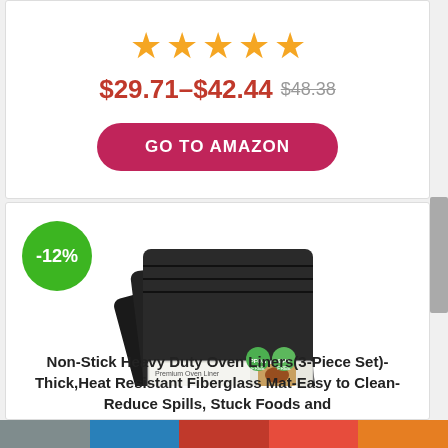[Figure (other): Five orange/gold star rating icons]
$29.71–$42.44 $48.38 (strikethrough)
[Figure (other): GO TO AMAZON button in dark pink/crimson rounded rectangle]
[Figure (other): Product image of Non-Stick Heavy Duty Oven Liners with -12% discount badge]
Non-Stick Heavy Duty Oven Liners(3-Piece Set)-Thick,Heat Resistant Fiberglass Mat-Easy to Clean-Reduce Spills, Stuck Foods and